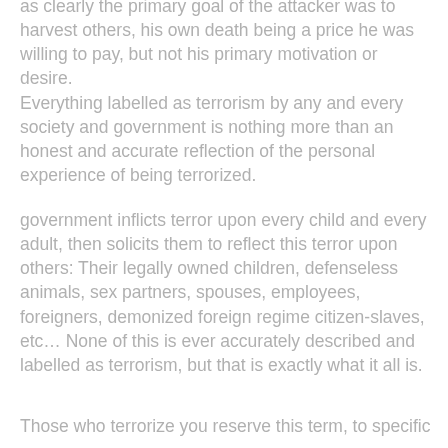as clearly the primary goal of the attacker was to harvest others, his own death being a price he was willing to pay, but not his primary motivation or desire. Everything labelled as terrorism by any and every society and government is nothing more than an honest and accurate reflection of the personal experience of being terrorized.
government inflicts terror upon every child and every adult, then solicits them to reflect this terror upon others: Their legally owned children, defenseless animals, sex partners, spouses, employees, foreigners, demonized foreign regime citizen-slaves, etc… None of this is ever accurately described and labelled as terrorism, but that is exactly what it all is.
Those who terrorize you reserve this term, to specific